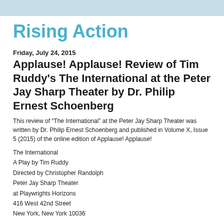Rising Action
Friday, July 24, 2015
Applause! Applause! Review of Tim Ruddy's The International at the Peter Jay Sharp Theater by Dr. Philip Ernest Schoenberg
This review of “The International” at the Peter Jay Sharp Theater was written by Dr. Philip Ernest Schoenberg and published in Volume X, Issue 5 (2015) of the online edition of Applause! Applause!
The International
A Play by Tim Ruddy
Directed by Christopher Randolph
Peter Jay Sharp Theater
at Playwrights Horizons
416 West 42nd Street
New York, New York 10036